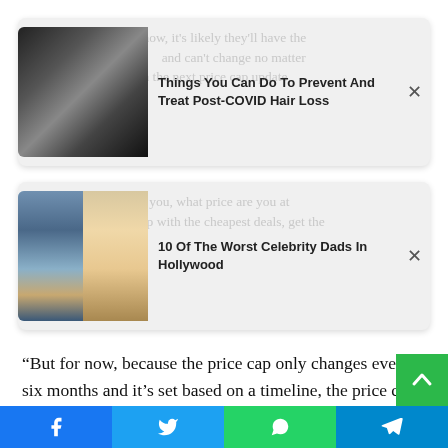[Figure (other): Ad card: Things You Can Do To Prevent And Treat Post-COVID Hair Loss, with hair image thumbnail]
[Figure (other): Ad card: 10 Of The Worst Celebrity Dads In Hollywood, with celebrity photo thumbnails]
“But for now, because the price cap only changes every six months and it’s set based on a timeline, the price cap is currently the cheapest meaningful tariff you can get.
“There’s no savings you can get by moving.”
The advice is also true of other warnings that have come la…
[Figure (infographic): Social sharing bar with Facebook, Twitter, WhatsApp, Telegram buttons]